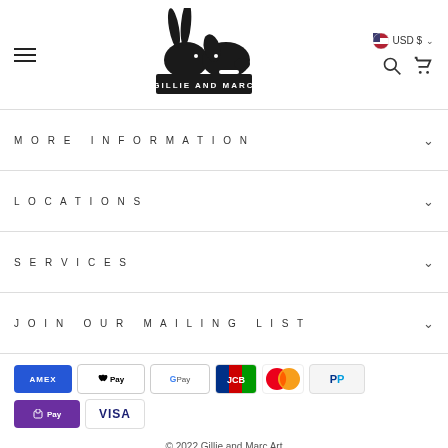[Figure (logo): Gillie and Marc logo: silhouette of a rabbit and dog facing each other, with text GILLIE AND MARC on a black banner]
MORE INFORMATION
LOCATIONS
SERVICES
JOIN OUR MAILING LIST
[Figure (infographic): Payment method icons: AMEX, Apple Pay, Google Pay, JCB, Mastercard, PayPal, Shop Pay, Visa]
© 2022 Gillie and Marc Art